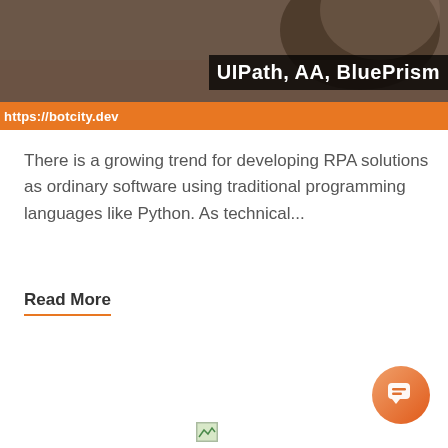[Figure (screenshot): Screenshot of a webpage with a dark background image showing a person, overlaid with bold white text 'UlPath, AA, BluePrism' and an orange banner at bottom showing 'https://botcity.dev']
There is a growing trend for developing RPA solutions as ordinary software using traditional programming languages like Python. As technical...
Read More
[Figure (illustration): Small chat bubble icon (circular, orange gradient) in the bottom-right corner]